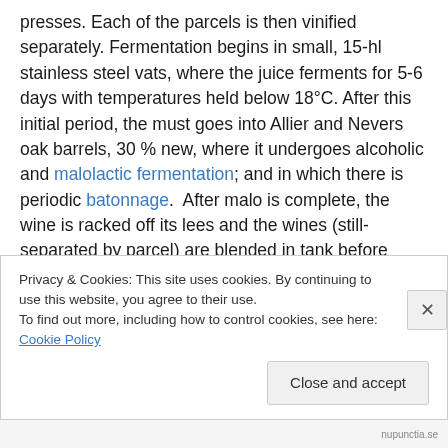presses. Each of the parcels is then vinified separately. Fermentation begins in small, 15-hl stainless steel vats, where the juice ferments for 5-6 days with temperatures held below 18°C. After this initial period, the must goes into Allier and Nevers oak barrels, 30 % new, where it undergoes alcoholic and malolactic fermentation; and in which there is periodic batonnage.  After malo is complete, the wine is racked off its lees and the wines (still-separated by parcel) are blended in tank before racking back into barrels. Before the second winter the wine undergoes Kieselguhr and sterile plate filtration and is re-
Privacy & Cookies: This site uses cookies. By continuing to use this website, you agree to their use.
To find out more, including how to control cookies, see here: Cookie Policy
Close and accept